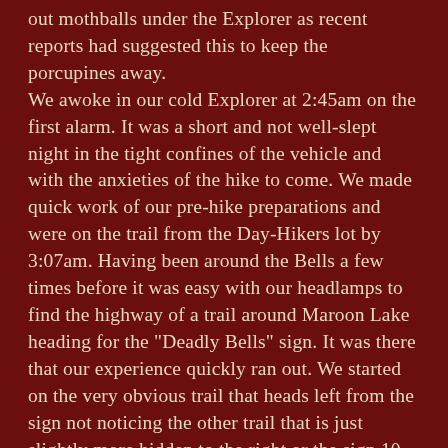out mothballs under the Explorer as recent reports had suggested this to keep the porcupines away. We awoke in our cold Explorer at 2:45am on the first alarm. It was a short and not well-slept night in the tight confines of the vehicle and with the anxieties of the hike to come. We made quick work of our pre-hike preparations and were on the trail from the Day-Hikers lot by 3:07am. Having been around the Bells a few times before it was easy with our headlamps to find the highway of a trail around Maroon Lake heading for the "Deadly Bells" sign. It was there that our experience quickly ran out. We started on the very obvious trail that heads left from the sign not noticing the other trail that is just slightly more hidden to the right or the sign 10 feet down the trail that points towards the Crater Lake trail. The loop trail looked great for the first quarter mile til we noticed it was turning a direction that didn't add up. I checked our track on the BCN app on my Bionic and noticed we were indeed on the wrong trail. It was